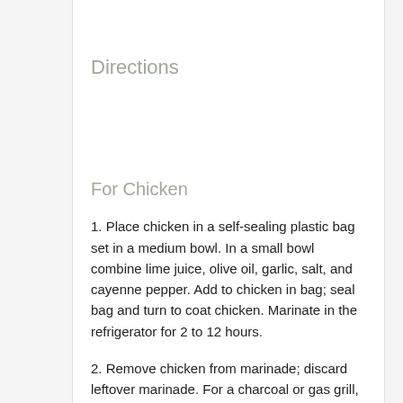Directions
For Chicken
1. Place chicken in a self-sealing plastic bag set in a medium bowl. In a small bowl combine lime juice, olive oil, garlic, salt, and cayenne pepper. Add to chicken in bag; seal bag and turn to coat chicken. Marinate in the refrigerator for 2 to 12 hours.
2. Remove chicken from marinade; discard leftover marinade. For a charcoal or gas grill, place chicken on grill rack directly over medium coals or heat. Grill (covered if using